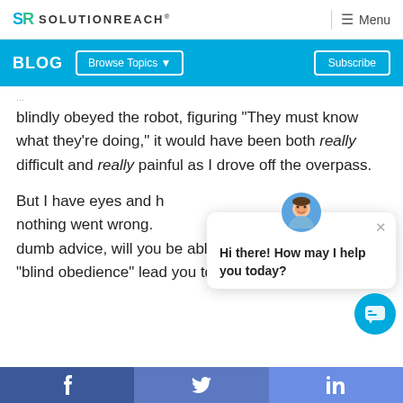SR SOLUTIONREACH | Menu
BLOG | Browse Topics | Subscribe
blindly obeyed the robot, figuring "They must know what they're doing," it would have been both really difficult and really painful as I drove off the overpass.
But I have eyes and h... nothing went wrong. dumb advice, will you be able to see it clearly, or will "blind obedience" lead you to harm? What if yo
[Figure (screenshot): Chat popup with avatar saying 'Hi there! How may I help you today?' with close button]
f (Facebook) | Twitter bird | in (LinkedIn)